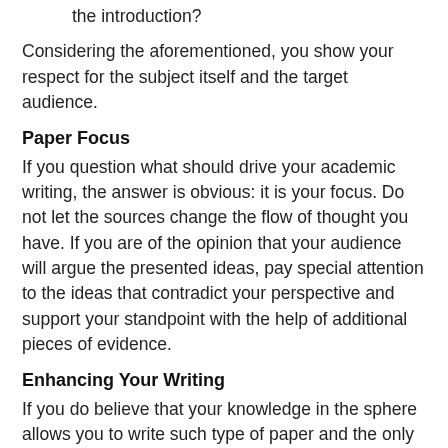the introduction?
Considering the aforementioned, you show your respect for the subject itself and the target audience.
Paper Focus
If you question what should drive your academic writing, the answer is obvious: it is your focus. Do not let the sources change the flow of thought you have. If you are of the opinion that your audience will argue the presented ideas, pay special attention to the ideas that contradict your perspective and support your standpoint with the help of additional pieces of evidence.
Enhancing Your Writing
If you do believe that your knowledge in the sphere allows you to write such type of paper and the only obstacle on your way to a successful writing is your skills, then you should devote time to reading academic books and special writing tutorials. Study how other writers